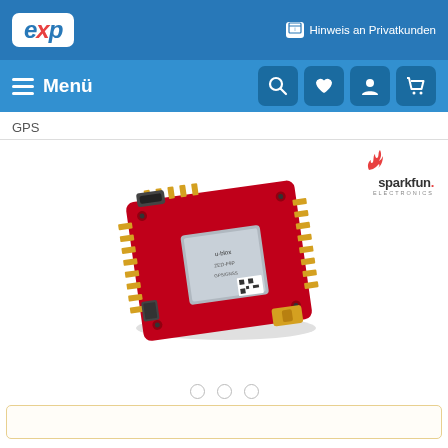EXP — Hinweis an Privatkunden
Menü
GPS
[Figure (logo): SparkFun Electronics logo with flame icon and 'sparkfun electronics' text]
[Figure (photo): Red SparkFun GPS breakout board with u-blox module, USB-C connector, and SMA antenna connector on white background]
Carousel navigation dots (3 circles)